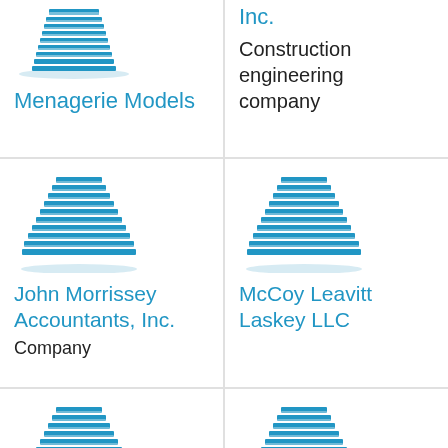[Figure (logo): Building icon for Menagerie Models]
Menagerie Models
[Figure (logo): Building icon with Inc. label, Construction engineering company]
Inc.
Construction engineering company
[Figure (logo): Building icon for John Morrissey Accountants, Inc.]
John Morrissey Accountants, Inc.
Company
[Figure (logo): Building icon for McCoy Leavitt Laskey LLC]
McCoy Leavitt Laskey LLC
[Figure (logo): Building icon for Keep Greater]
Keep Greater
[Figure (logo): Building icon for Cedarburg Coffee]
Cedarburg Coffee